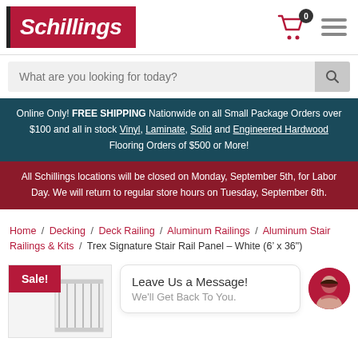[Figure (logo): Schillings logo: black vertical bar left of crimson red rectangle with white italic bold text 'Schillings']
What are you looking for today?
Online Only! FREE SHIPPING Nationwide on all Small Package Orders over $100 and all in stock Vinyl, Laminate, Solid and Engineered Hardwood Flooring Orders of $500 or More!
All Schillings locations will be closed on Monday, September 5th, for Labor Day. We will return to regular store hours on Tuesday, September 6th.
Home / Decking / Deck Railing / Aluminum Railings / Aluminum Stair Railings & Kits / Trex Signature Stair Rail Panel – White (6′ x 36″)
Sale!
Leave Us a Message! We'll Get Back To You.